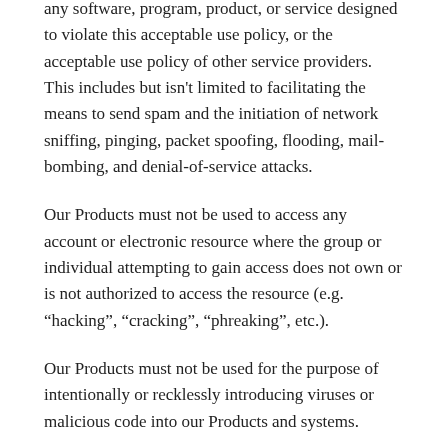any software, program, product, or service designed to violate this acceptable use policy, or the acceptable use policy of other service providers. This includes but isn't limited to facilitating the means to send spam and the initiation of network sniffing, pinging, packet spoofing, flooding, mail-bombing, and denial-of-service attacks.
Our Products must not be used to access any account or electronic resource where the group or individual attempting to gain access does not own or is not authorized to access the resource (e.g. “hacking”, “cracking”, “phreaking”, etc.).
Our Products must not be used for the purpose of intentionally or recklessly introducing viruses or malicious code into our Products and systems.
Our Products must not be used for purposely engaging in activities designed to harass another group or